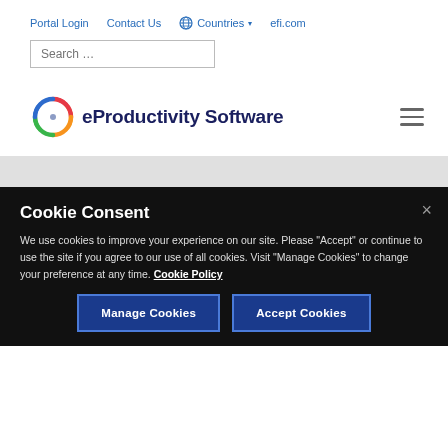Portal Login   Contact Us   🌐 Countries ▾   efi.com
[Figure (screenshot): Search input field with placeholder text 'Search ...']
[Figure (logo): eProductivity Software logo with colorful swirl icon and dark blue text]
Cookie Consent
We use cookies to improve your experience on our site. Please "Accept" or continue to use the site if you agree to our use of all cookies. Visit "Manage Cookies" to change your preference at any time. Cookie Policy
Manage Cookies   Accept Cookies